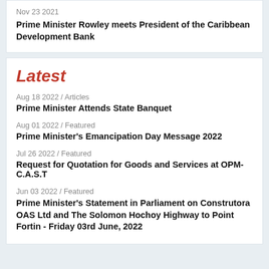Nov 23 2021
Prime Minister Rowley meets President of the Caribbean Development Bank
Latest
Aug 18 2022 / Articles
Prime Minister Attends State Banquet
Aug 01 2022 / Featured
Prime Minister's Emancipation Day Message 2022
Jul 26 2022 / Featured
Request for Quotation for Goods and Services at OPM- C.A.S.T
Jun 03 2022 / Featured
Prime Minister's Statement in Parliament on Construtora OAS Ltd and The Solomon Hochoy Highway to Point Fortin - Friday 03rd June, 2022